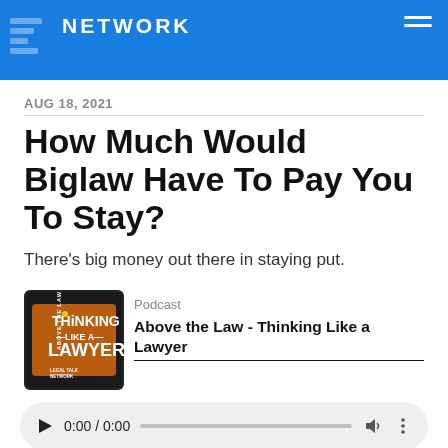NETWORK
AUG 18, 2021
How Much Would Biglaw Have To Pay You To Stay?
There's big money out there in staying put.
[Figure (logo): Above the Law - Thinking Like a Lawyer podcast cover art, dark background with orange square, text reading THINKING LIKE A LAWYER, ABOVE THE LAW, LEGAL TALK NETWORK]
Podcast
Above the Law - Thinking Like a Lawyer
[Figure (other): Audio player widget showing 0:00 / 0:00 with play button, progress bar, volume and more options controls]